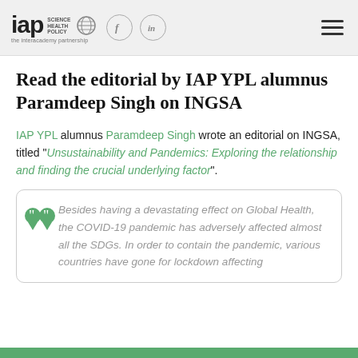IAP Science Health Policy — the Interacademy Partnership — [Facebook] [LinkedIn] [Menu]
Read the editorial by IAP YPL alumnus Paramdeep Singh on INGSA
IAP YPL alumnus Paramdeep Singh wrote an editorial on INGSA, titled "Unsustainability and Pandemics: Exploring the relationship and finding the crucial underlying factor".
Besides having a devastating effect on Global Health, the COVID-19 pandemic has adversely affected almost all the SDGs. In order to contain the pandemic, various countries have gone for lockdown affecting